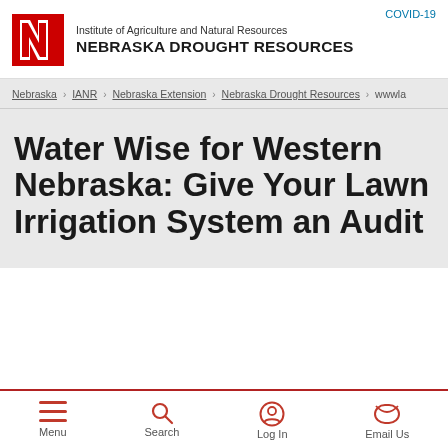COVID-19
[Figure (logo): University of Nebraska red N logo]
Institute of Agriculture and Natural Resources
NEBRASKA DROUGHT RESOURCES
Nebraska › IANR › Nebraska Extension › Nebraska Drought Resources › wwwla
Water Wise for Western Nebraska: Give Your Lawn Irrigation System an Audit
Menu  Search  Log In  Email Us